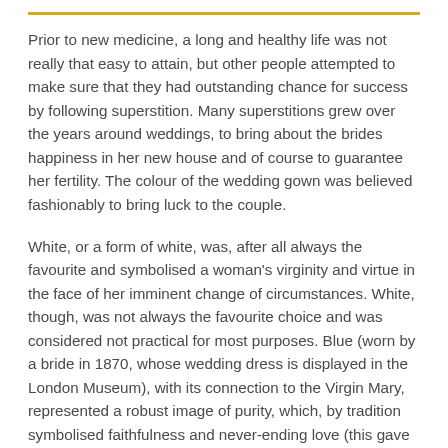Prior to new medicine, a long and healthy life was not really that easy to attain, but other people attempted to make sure that they had outstanding chance for success by following superstition. Many superstitions grew over the years around weddings, to bring about the brides happiness in her new house and of course to guarantee her fertility. The colour of the wedding gown was believed fashionably to bring luck to the couple.
White, or a form of white, was, after all always the favourite and symbolised a woman's virginity and virtue in the face of her imminent change of circumstances. White, though, was not always the favourite choice and was considered not practical for most purposes. Blue (worn by a bride in 1870, whose wedding dress is displayed in the London Museum), with its connection to the Virgin Mary, represented a robust image of purity, which, by tradition symbolised faithfulness and never-ending love (this gave rise to the reason that sapphires were used in engagement earrings). Brides, who wore